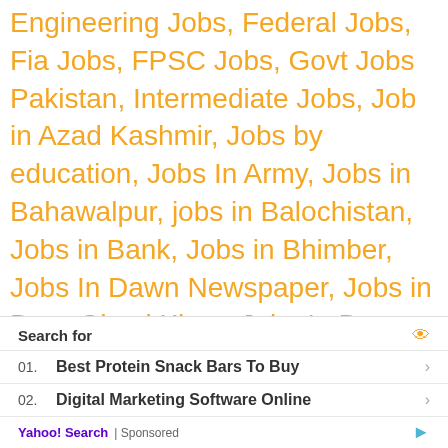Engineering Jobs, Federal Jobs, Fia Jobs, FPSC Jobs, Govt Jobs Pakistan, Intermediate Jobs, Job in Azad Kashmir, Jobs by education, Jobs In Army, Jobs in Bahawalpur, jobs in Balochistan, Jobs in Bank, Jobs in Bhimber, Jobs In Dawn Newspaper, Jobs in Dera Ghazi Khan, Jobs In Dunya Newspaper, Jobs In Express Newspaper, Jobs in Faisalabad, Jobs in FATA, Jobs In Gilgit Baltistan, Jobs in Gujranwala, Jobs in Gwadar, Jobs in Hyderabad, Jobs in Islamabad, Jobs In Jang Newspaper, Jobs in Jhang, Jobs in Karachi, Jobs in Kotli, Jobs in KPK, Jobs in
[Figure (screenshot): Ad unit: Search for / 01. Best Protein Snack Bars To Buy > / 02. Digital Marketing Software Online > / Yahoo! Search | Sponsored]